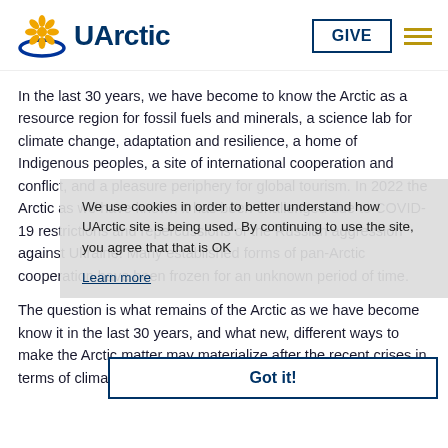[Figure (logo): UArctic logo with sunflower/daisy symbol in gold/blue and 'UArctic' text in dark blue]
GIVE
In the last 30 years, we have become to know the Arctic as a resource region for fossil fuels and minerals, a science lab for climate change, adaptation and resilience, a home of Indigenous peoples, a site of international cooperation and conflict, and a pleasure periphery for global tourism. In 2022 the Arctic as we have known it has been challenged due to COVID-19 restrictions and repercussions of the Russian aggression against Ukraine. Many established forms of pan-Arctic cooperation have been frozen for an unknown period of time.
We use cookies in order to better understand how UArctic site is being used. By continuing to use the site, you agree that that is OK
Learn more
Got it!
The question is what remains of the Arctic as we have become know it in the last 30 years, and what new, different ways to make the Arctic matter may materialize after the recent crises in terms of climate and energy